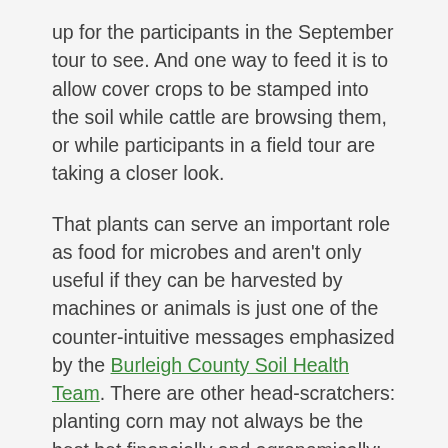up for the participants in the September tour to see. And one way to feed it is to allow cover crops to be stamped into the soil while cattle are browsing them, or while participants in a field tour are taking a closer look.
That plants can serve an important role as food for microbes and aren't only useful if they can be harvested by machines or animals is just one of the counter-intuitive messages emphasized by the Burleigh County Soil Health Team. There are other head-scratchers: planting corn may not always be the best bet financially and agronomically; cattle don't need to spend a long time in grazing paddocks; you don't need as much moisture as you once thought to raise a decent crop; no-till cropping systems alone don't save soil; fields with more varieties of plants, not less, are more resilient in the face of drought.
Fuhrer says he identifies with farmers and others who